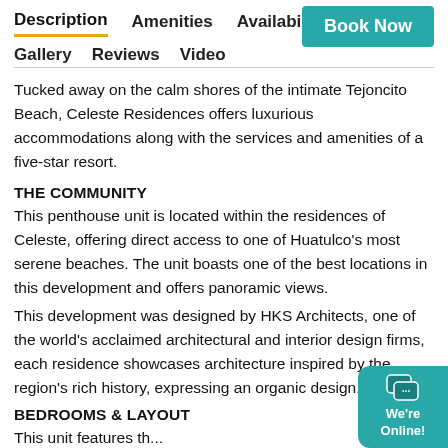Description | Amenities | Availability | Location | Gallery | Reviews | Video | Book Now
Tucked away on the calm shores of the intimate Tejoncito Beach, Celeste Residences offers luxurious accommodations along with the services and amenities of a five-star resort.
THE COMMUNITY
This penthouse unit is located within the residences of Celeste, offering direct access to one of Huatulco's most serene beaches. The unit boasts one of the best locations in this development and offers panoramic views.
This development was designed by HKS Architects, one of the world's acclaimed architectural and interior design firms, each residence showcases architecture inspired by the region's rich history, expressing an organic design.
BEDROOMS & LAYOUT
This unit features the...